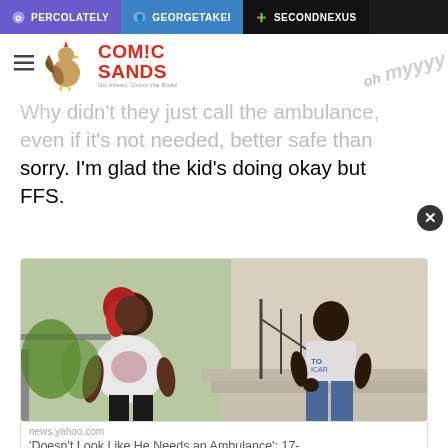PERCOLATELY | GEORGETAKEI | SECONDNEXUS
[Figure (logo): Comic Sands logo with rooster illustration]
Why didn't they just call the ambulance, even if it's not needed, better safe than sorry. I'm glad the kid's doing okay but FFS.
[Figure (photo): Two people sitting on front porch steps outside a house. A woman with red hair in a white t-shirt on the left, and a man in a light-colored shirt sitting on steps to the right.]
news.yahoo.com
'Doesn't Look Like He Needs an Ambulance': 17-Year-Old...